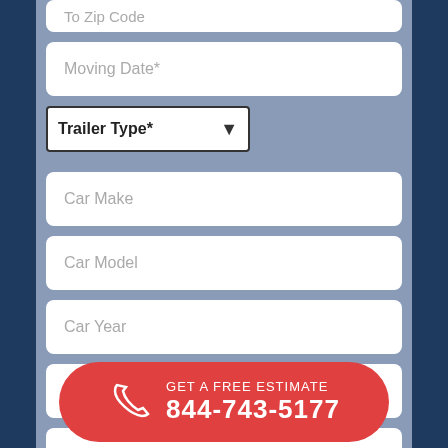To Zip Code
Moving Date*
Trailer Type*
Car Make
Car Model
Car Year
First Name*
Last Name*
Em...
Phone*
GET A FREE ESTIMATE 844-743-5177